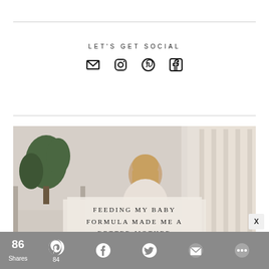LET'S GET SOCIAL
[Figure (infographic): Social media icons: email, Instagram, Pinterest, Facebook]
[Figure (photo): Woman sitting in nursery room with a baby, with overlay text reading FEEDING MY BABY FORMULA MADE ME A BETTER MOTHER]
86 Shares | Social share bar with Pinterest (84), Facebook, Twitter, Email, More icons